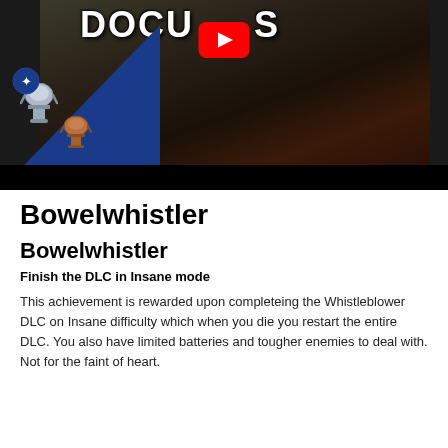[Figure (screenshot): Video thumbnail showing a dark scene from a video game with a crouching character, trophy icons (silver and bronze), a blue triangle overlay in the bottom-left corner, and a YouTube play button overlay. Partial text 'DOCU...S' visible at top.]
Bowelwhistler
Bowelwhistler
Finish the DLC in Insane mode
This achievement is rewarded upon completeing the Whistleblower DLC on Insane difficulty which when you die you restart the entire DLC. You also have limited batteries and tougher enemies to deal with. Not for the faint of heart.